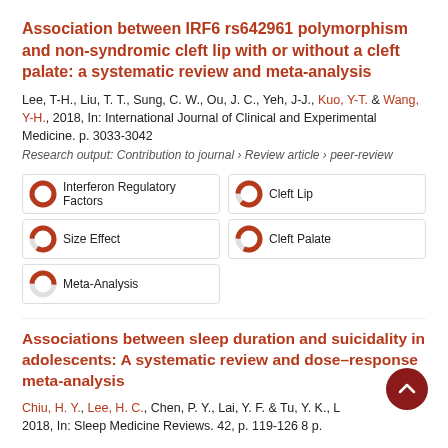Association between IRF6 rs642961 polymorphism and non-syndromic cleft lip with or without a cleft palate: a systematic review and meta-analysis
Lee, T-H., Liu, T. T., Sung, C. W., Ou, J. C., Yeh, J-J., Kuo, Y-T. & Wang, Y-H., 2018, In: International Journal of Clinical and Experimental Medicine. p. 3033-3042
Research output: Contribution to journal › Review article › peer-review
Interferon Regulatory Factors
Cleft Lip
Size Effect
Cleft Palate
Meta-Analysis
Associations between sleep duration and suicidality in adolescents: A systematic review and dose–response meta-analysis
Chiu, H. Y., Lee, H. C., Chen, P. Y., Lai, Y. F. & Tu, Y. K., L 2018, In: Sleep Medicine Reviews. 42, p. 119-126 8 p.